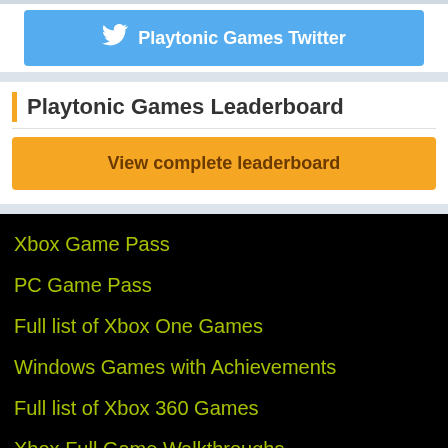[Figure (other): Twitter button with bird icon: Playtonic Games Twitter]
Playtonic Games Leaderboard
View complete leaderboard
Xbox Game Pass
PC Game Pass
Full list of Xbox One Games
Windows Games with Achievements
Full list of Xbox 360 Games
Xbox Full Game Walkthroughs